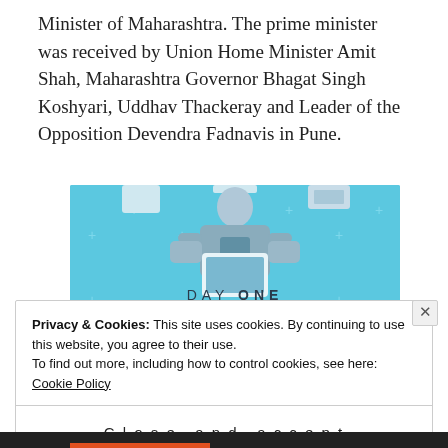Minister of Maharashtra. The prime minister was received by Union Home Minister Amit Shah, Maharashtra Governor Bhagat Singh Koshyari, Uddhav Thackeray and Leader of the Opposition Devendra Fadnavis in Pune.
[Figure (illustration): Advertisement for Day One journaling app. Blue background with a person holding a phone/tablet, plus decorations, text: DAY ONE - The only journaling app you'll ever need.]
Privacy & Cookies: This site uses cookies. By continuing to use this website, you agree to their use.
To find out more, including how to control cookies, see here: Cookie Policy
Close and accept